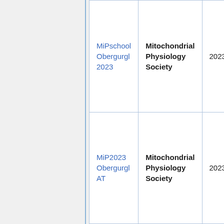| Name | Organization | Date |
| --- | --- | --- |
| MiPschool Obergurgl 2023 | Mitochondrial Physiology Society | 2023-07-23 |
| MiP2023 Obergurgl AT | Mitochondrial Physiology Society | 2023-07-27 |